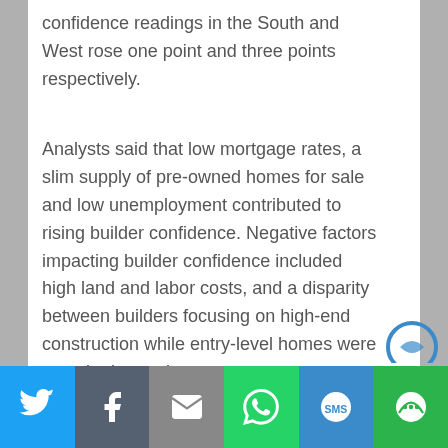confidence readings in the South and West rose one point and three points respectively.
Analysts said that low mortgage rates, a slim supply of pre-owned homes for sale and low unemployment contributed to rising builder confidence. Negative factors impacting builder confidence included high land and labor costs, and a disparity between builders focusing on high-end construction while entry-level homes were most in demand.
The National Association of Realtors ®reported fewer sales of pre-owned homes in November; 5.35 million previously-owned homes sold on a
[Figure (infographic): Social sharing bar with six buttons: Twitter (blue), Facebook (dark grey), Email (grey), WhatsApp (green), SMS (blue), More/Share (green)]